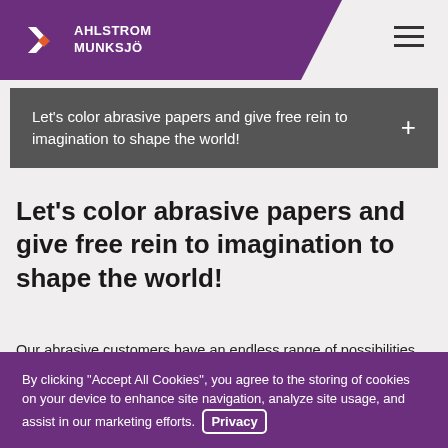[Figure (logo): Ahlstrom-Munksjö logo with white icon and text on purple header background with hamburger menu icon]
Let's color abrasive papers and give free rein to imagination to shape the world!
Let's color abrasive papers and give free rein to imagination to shape the world!
Our abrasive customers have an endless range of possibilities available to them. We offer our customers a chart of colors
By clicking "Accept All Cookies", you agree to the storing of cookies on your device to enhance site navigation, analyze site usage, and assist in our marketing efforts. Privacy